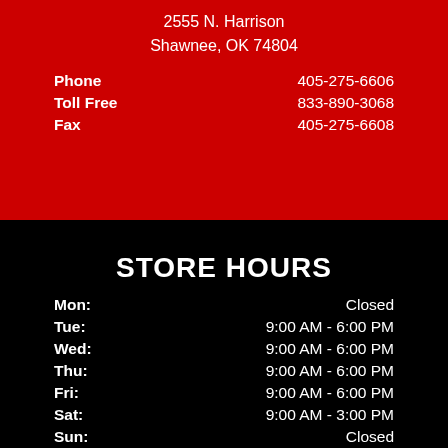2555 N. Harrison
Shawnee, OK 74804
| Label | Value |
| --- | --- |
| Phone | 405-275-6606 |
| Toll Free | 833-890-3068 |
| Fax | 405-275-6608 |
STORE HOURS
| Day | Hours |
| --- | --- |
| Mon: | Closed |
| Tue: | 9:00 AM - 6:00 PM |
| Wed: | 9:00 AM - 6:00 PM |
| Thu: | 9:00 AM - 6:00 PM |
| Fri: | 9:00 AM - 6:00 PM |
| Sat: | 9:00 AM - 3:00 PM |
| Sun: | Closed |